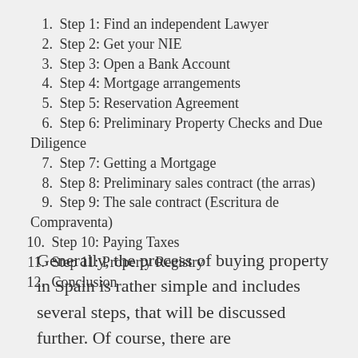1. Step 1: Find an independent Lawyer
2. Step 2: Get your NIE
3. Step 3: Open a Bank Account
4. Step 4: Mortgage arrangements
5. Step 5: Reservation Agreement
6. Step 6: Preliminary Property Checks and Due Diligence
7. Step 7: Getting a Mortgage
8. Step 8: Preliminary sales contract (the arras)
9. Step 9: The sale contract (Escritura de Compraventa)
10. Step 10: Paying Taxes
11. Step 11: Property Registry
12. Conclusion
Generally, the process of buying property in Spain is rather simple and includes several steps, that will be discussed further. Of course, there are